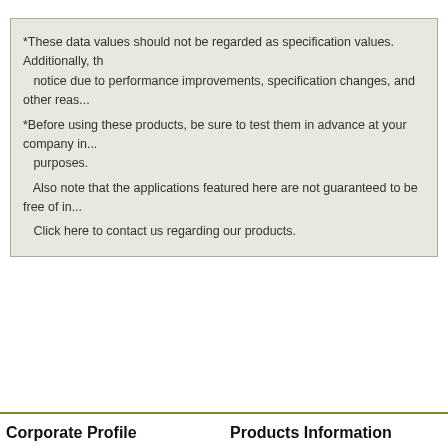*These data values should not be regarded as specification values. Additionally, the data may be changed without notice due to performance improvements, specification changes, and other reasons.
*Before using these products, be sure to test them in advance at your company in accordance with the intended purposes.
Also note that the applications featured here are not guaranteed to be free of infringement of third-party rights.
Click here to contact us regarding our products.
Corporate Profile
Products Information
Message from the President
Ultrafine titanium dioxide
Corporate Philosophy
Pigments for cosmetics